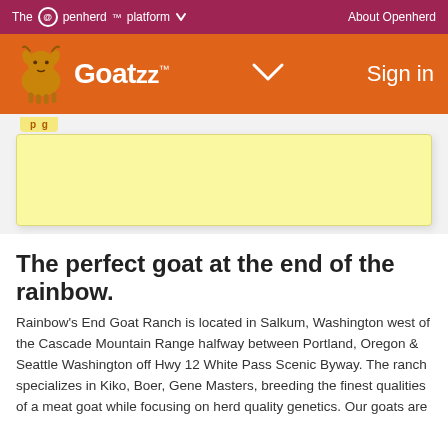The @penherd platform ∨  About Openherd
[Figure (logo): Goatzz logo with goat icon on orange header bar with Sign in link]
[Figure (other): Yellow notification box partially visible]
The perfect goat at the end of the rainbow.
Rainbow's End Goat Ranch is located in Salkum, Washington west of the Cascade Mountain Range halfway between Portland, Oregon & Seattle Washington off Hwy 12 White Pass Scenic Byway. The ranch specializes in Kiko, Boer, Gene Masters, breeding the finest qualities of a meat goat while focusing on herd quality genetics. Our goats are